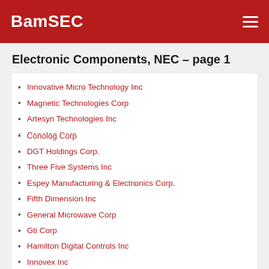BamSEC
Electronic Components, NEC – page 1
Innovative Micro Technology Inc
Magnetic Technologies Corp
Artesyn Technologies Inc
Conolog Corp
DGT Holdings Corp.
Three Five Systems Inc
Espey Manufacturing & Electronics Corp.
Fifth Dimension Inc
General Microwave Corp
Gti Corp
Hamilton Digital Controls Inc
Innovex Inc
LGL Group Inc
M Tron Industries Inc
Microvision Inc.
National Micronetics Inc
Orbit International Corp
Power Designs Inc